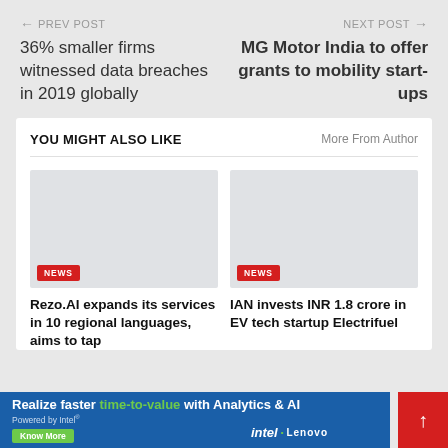← PREV POST | NEXT POST →
36% smaller firms witnessed data breaches in 2019 globally
MG Motor India to offer grants to mobility start-ups
YOU MIGHT ALSO LIKE | More From Author
[Figure (photo): Placeholder image for Rezo.AI article]
NEWS
Rezo.AI expands its services in 10 regional languages, aims to tap
[Figure (photo): Placeholder image for IAN invests article]
NEWS
IAN invests INR 1.8 crore in EV tech startup Electrifuel
Realize faster time-to-value with Analytics & AI
Powered by Intel®
Know More